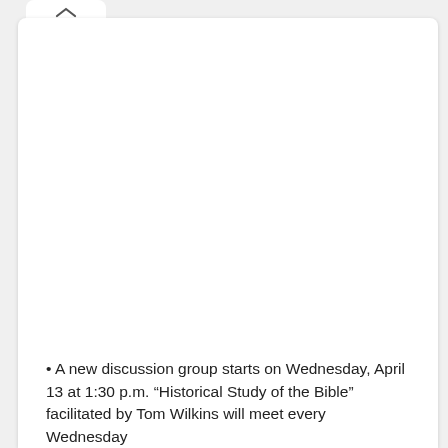• A new discussion group starts on Wednesday, April 13 at 1:30 p.m. “Historical Study of the Bible” facilitated by Tom Wilkins will meet every Wednesday